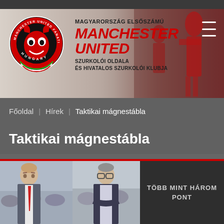[Figure (logo): Manchester United Fanatics Club Hungary banner with circular logo on left and red MANCHESTER UNITED text on right, with crowd background]
Főoldal | Hírek | Taktikai mágnestábla
Taktikai mágnestábla
[Figure (photo): Card with two photos of men on the left (soccer manager and another person) and dark panel on right reading TÖBB MINT HÁROM PONT]